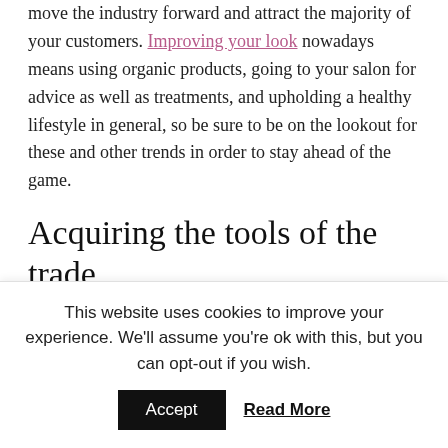move the industry forward and attract the majority of your customers. Improving your look nowadays means using organic products, going to your salon for advice as well as treatments, and upholding a healthy lifestyle in general, so be sure to be on the lookout for these and other trends in order to stay ahead of the game.
Acquiring the tools of the trade
Every beauty entrepreneur needs to research the right products for their business, no matter if you're
This website uses cookies to improve your experience. We'll assume you're ok with this, but you can opt-out if you wish.